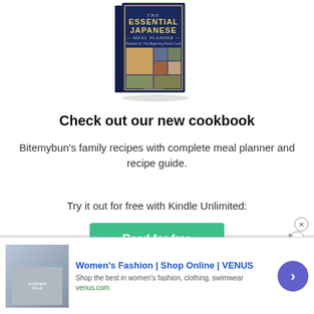[Figure (illustration): Book cover for 'The Essential Japanese Meal Planner – Recipes for The Beginning Home Cook' by Bitemybun.com, shown as a 3D book with food photography on the cover]
Check out our new cookbook
Bitemybun's family recipes with complete meal planner and recipe guide.
Try it out for free with Kindle Unlimited:
[Figure (other): Green 'Read for free' button (Kindle Unlimited call-to-action)]
[Figure (other): Advertisement banner: Women's Fashion | Shop Online | VENUS – Shop the best in women's fashion, clothing, swimwear. venus.com]